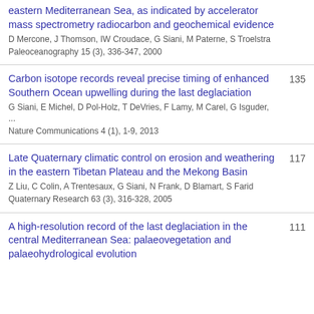eastern Mediterranean Sea, as indicated by accelerator mass spectrometry radiocarbon and geochemical evidence
D Mercone, J Thomson, IW Croudace, G Siani, M Paterne, S Troelstra
Paleoceanography 15 (3), 336-347, 2000
Carbon isotope records reveal precise timing of enhanced Southern Ocean upwelling during the last deglaciation
G Siani, E Michel, D Pol-Holz, T DeVries, F Lamy, M Carel, G Isguder, ...
Nature Communications 4 (1), 1-9, 2013
135
Late Quaternary climatic control on erosion and weathering in the eastern Tibetan Plateau and the Mekong Basin
Z Liu, C Colin, A Trentesaux, G Siani, N Frank, D Blamart, S Farid
Quaternary Research 63 (3), 316-328, 2005
117
A high-resolution record of the last deglaciation in the central Mediterranean Sea: palaeovegetation and palaeohydrological evolution
111